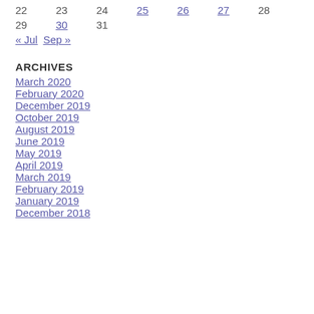| 22 | 23 | 24 | 25 | 26 | 27 | 28 |
| 29 | 30 | 31 |  |  |  |  |
« Jul   Sep »
ARCHIVES
March 2020
February 2020
December 2019
October 2019
August 2019
June 2019
May 2019
April 2019
March 2019
February 2019
January 2019
December 2018